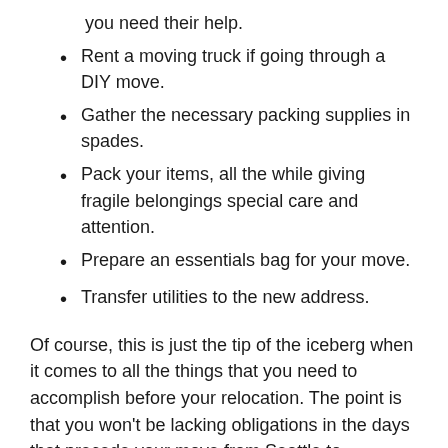you need their help.
Rent a moving truck if going through a DIY move.
Gather the necessary packing supplies in spades.
Pack your items, all the while giving fragile belongings special care and attention.
Prepare an essentials bag for your move.
Transfer utilities to the new address.
Of course, this is just the tip of the iceberg when it comes to all the things that you need to accomplish before your relocation. The point is that you won't be lacking obligations in the days that precede your move from Seattle to Redmond. Quite the contrary – you will have a lot of work on your hands.